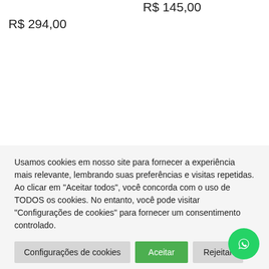R$ 145,00
R$ 294,00
Usamos cookies em nosso site para fornecer a experiência mais relevante, lembrando suas preferências e visitas repetidas. Ao clicar em "Aceitar todos", você concorda com o uso de TODOS os cookies. No entanto, você pode visitar "Configurações de cookies" para fornecer um consentimento controlado.
Configurações de cookies
Aceitar
Rejeitar